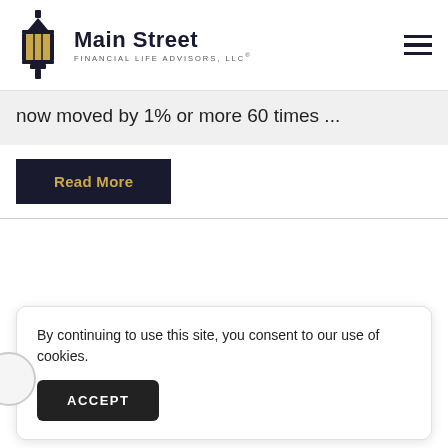[Figure (logo): Main Street Financial Life Advisors LLC logo with lantern icon and company name]
now moved by 1% or more 60 times ...
Read More
By continuing to use this site, you consent to our use of cookies.
ACCEPT